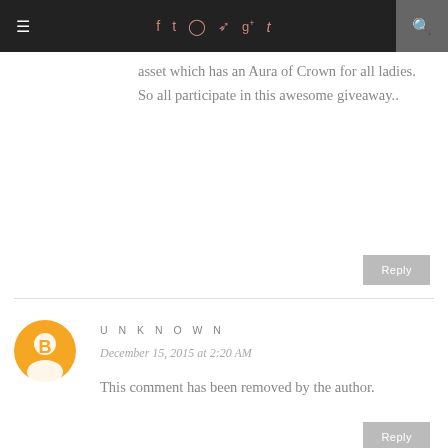≡  f  t  [instagram]  [pinterest]  g+  t  [search]
asset which has an Aura of Crown for all ladies. So all participate in this awesome giveaway..
Reply
UNKNOWN
December 15, 2015 at 2:20 AM
This comment has been removed by the author.
Reply